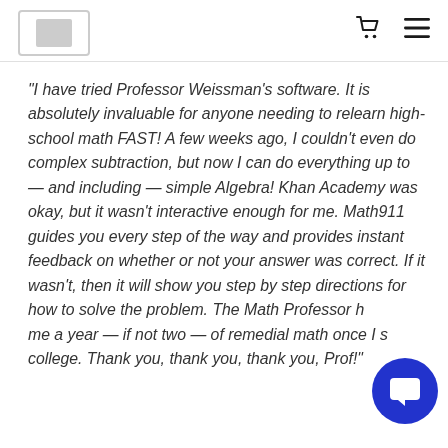[Logo] [Cart icon] [Menu icon]
"I have tried Professor Weissman's software. It is absolutely invaluable for anyone needing to relearn high-school math FAST! A few weeks ago, I couldn't even do complex subtraction, but now I can do everything up to — and including — simple Algebra! Khan Academy was okay, but it wasn't interactive enough for me. Math911 guides you every step of the way and provides instant feedback on whether or not your answer was correct. If it wasn't, then it will show you step by step directions for how to solve the problem. The Math Professor had me a year — if not two — of remedial math once I started college. Thank you, thank you, thank you, Prof!"